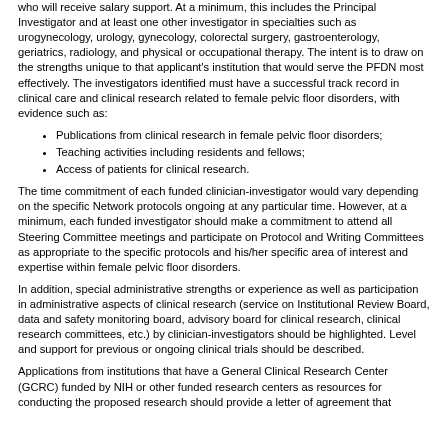who will receive salary support. At a minimum, this includes the Principal Investigator and at least one other investigator in specialties such as urogynecology, urology, gynecology, colorectal surgery, gastroenterology, geriatrics, radiology, and physical or occupational therapy. The intent is to draw on the strengths unique to that applicant's institution that would serve the PFDN most effectively. The investigators identified must have a successful track record in clinical care and clinical research related to female pelvic floor disorders, with evidence such as:
Publications from clinical research in female pelvic floor disorders;
Teaching activities including residents and fellows;
Access of patients for clinical research.
The time commitment of each funded clinician-investigator would vary depending on the specific Network protocols ongoing at any particular time. However, at a minimum, each funded investigator should make a commitment to attend all Steering Committee meetings and participate on Protocol and Writing Committees as appropriate to the specific protocols and his/her specific area of interest and expertise within female pelvic floor disorders.
In addition, special administrative strengths or experience as well as participation in administrative aspects of clinical research (service on Institutional Review Board, data and safety monitoring board, advisory board for clinical research, clinical research committees, etc.) by clinician-investigators should be highlighted. Level and support for previous or ongoing clinical trials should be described.
Applications from institutions that have a General Clinical Research Center (GCRC) funded by NIH or other funded research centers as resources for conducting the proposed research should provide a letter of agreement that